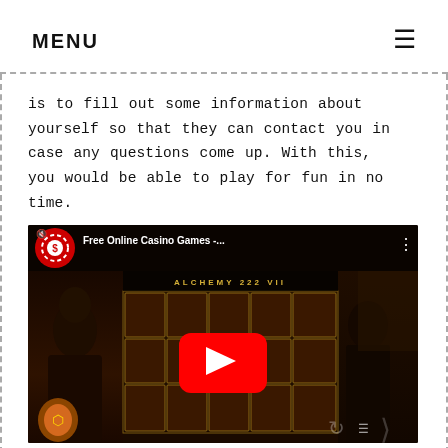MENU
is to fill out some information about yourself so that they can contact you in case any questions come up. With this, you would be able to play for fun in no time.
[Figure (screenshot): YouTube video thumbnail showing 'Free Online Casino Games -...' with a slot machine game featuring a dark-haired woman, with a red YouTube play button in the center. The video player has a mute icon, options dots, and bottom controls.]